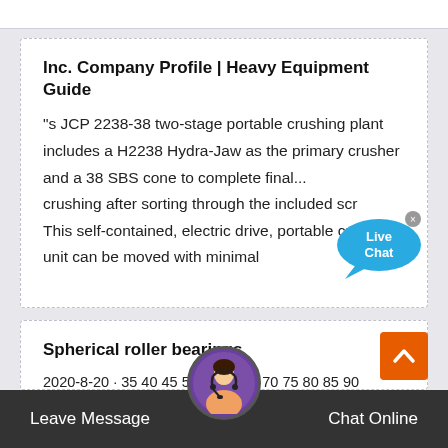Inc. Company Profile | Heavy Equipment Guide
"s JCP 2238-38 two-stage portable crushing plant includes a H2238 Hydra-Jaw as the primary crusher and a 38 SBS cone to complete final... crushing after sorting through the included scr This self-contained, electric drive, portable crushing unit can be moved with minimal
Spherical roller bearings
2020-8-20 · 35 40 45 50 55 60 65 70 75 80 85 90 95 100 105 110 115 25 000 15 000 Diagram 2
Grease life for sealed al roller bearings... with designation sufix 3 where P ≤ 0,125 C